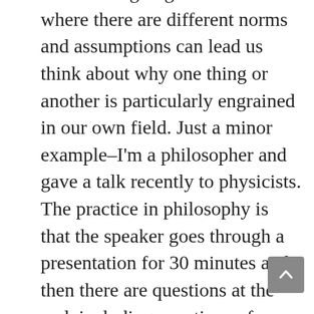sometimes going to conferences where there are different norms and assumptions can lead us think about why one thing or another is particularly engrained in our own field. Just a minor example–I'm a philosopher and gave a talk recently to physicists. The practice in philosophy is that the speaker goes through a presentation for 30 minutes and then there are questions at the end, including questions of clarification. But the practice in physics is that the speaker can be interrupted at any point with questions of clarification. A philosopher's first